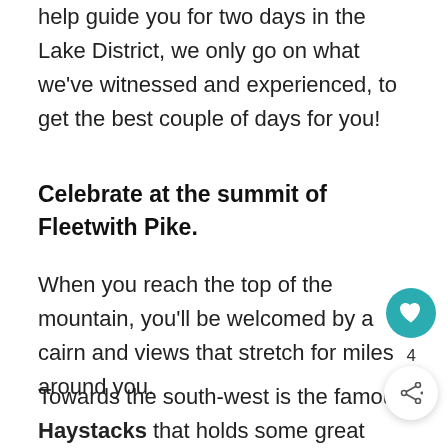help guide you for two days in the Lake District, we only go on what we've witnessed and experienced, to get the best couple of days for you!
Celebrate at the summit of Fleetwith Pike.
When you reach the top of the mountain, you'll be welcomed by a cairn and views that stretch for miles around you.
Towards the south-west is the famous Haystacks that holds some great